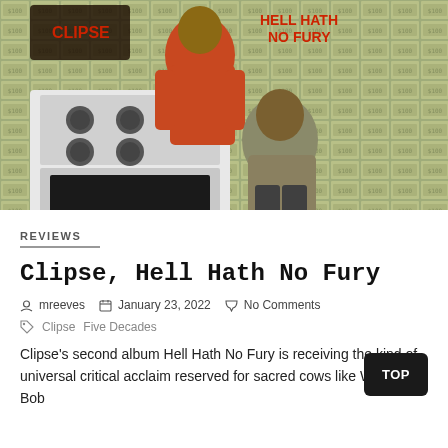[Figure (photo): Album cover photo for Clipse Hell Hath No Fury showing two men posing with a stove, background covered in dollar bills, text reading HELL HATH NO FURY]
REVIEWS
Clipse, Hell Hath No Fury
mreeves   January 23, 2022   No Comments
Clipse  Five Decades
Clipse's second album Hell Hath No Fury is receiving the kind of universal critical acclaim reserved for sacred cows like Wilco and Bob